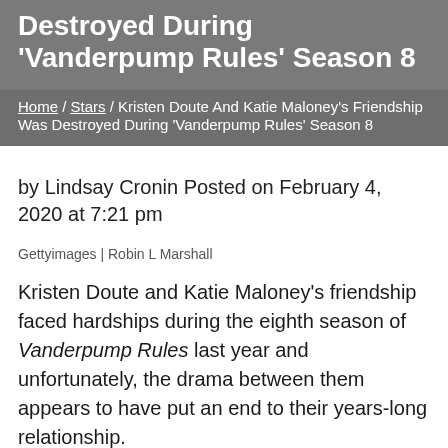Destroyed During 'Vanderpump Rules' Season 8
Home / Stars / Kristen Doute And Katie Maloney's Friendship Was Destroyed During 'Vanderpump Rules' Season 8
by Lindsay Cronin Posted on February 4, 2020 at 7:21 pm
Gettyimages | Robin L Marshall
Kristen Doute and Katie Maloney's friendship faced hardships during the eighth season of Vanderpump Rules last year and unfortunately, the drama between them appears to have put an end to their years-long relationship.